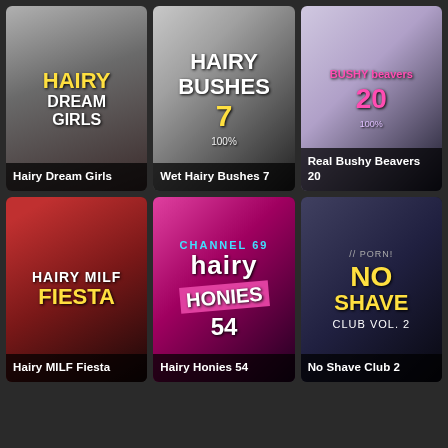[Figure (photo): DVD cover for 'Hairy Dream Girls' adult film]
Hairy Dream Girls
[Figure (photo): DVD cover for 'Wet Hairy Bushes 7' adult film]
Wet Hairy Bushes 7
[Figure (photo): DVD cover for 'Real Bushy Beavers 20' adult film]
Real Bushy Beavers 20
[Figure (photo): DVD cover for 'Hairy MILF Fiesta' adult film]
Hairy MILF Fiesta
[Figure (photo): DVD cover for 'Hairy Honies 54' adult film]
Hairy Honies 54
[Figure (photo): DVD cover for 'No Shave Club 2' adult film]
No Shave Club 2